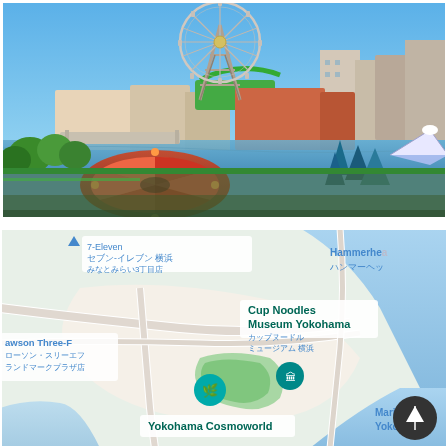[Figure (photo): Aerial view of Yokohama Cosmoworld amusement park showing a large Ferris wheel (Cosmo Clock 21), colorful rides including a spinning carousel ride in the foreground, blue sky, waterway/canal, and city buildings in the background.]
[Figure (map): Google Maps screenshot showing Minato Mirai area of Yokohama, Japan. Labels visible include: 7-Eleven / セブン-イレブン 横浜 みなとみらい3丁目店, Cup Noodles Museum Yokohama / カップヌードルミュージアム 横浜, Hammerhead / ハンマーヘッ, Lawson Three-F / ローソン・スリーエフ ランドマークプラザ店, Yokohama Cosmoworld, Marine & Yokoha. Also shows a blue map pin and a teal/green museum icon marker, plus a dark scroll-to-top button.]